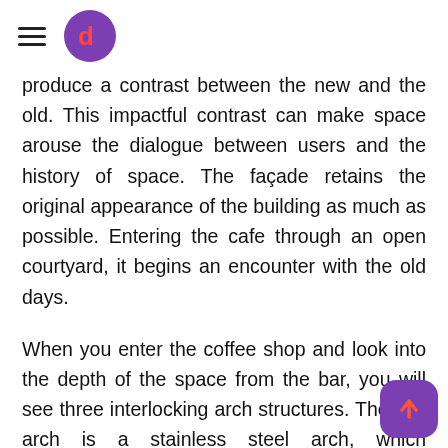Navigation header with hamburger menu and logo
produce a contrast between the new and the old. This impactful contrast can make space arouse the dialogue between users and the history of space. The façade retains the original appearance of the building as much as possible. Entering the cafe through an open courtyard, it begins an encounter with the old days.
When you enter the coffee shop and look into the depth of the space from the bar, you will see three interlocking arch structures. The first arch is a stainless steel arch, which structurally supports the old wall with potential safety hazards. The second arch is a concrete arch, which is painted with cement p based on the original building to maintain the tex